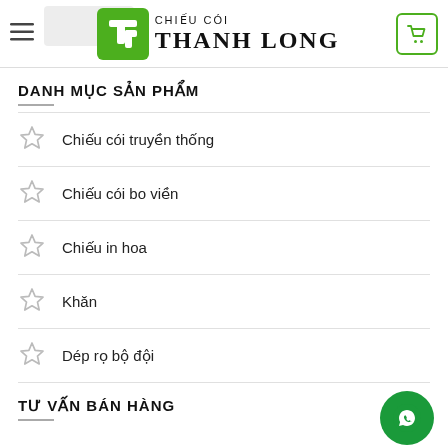CHIẾU CÓI THANH LONG
DANH MỤC SẢN PHẨM
Chiếu cói truyền thống
Chiếu cói bo viền
Chiếu in hoa
Khăn
Dép rọ bộ đội
TƯ VẤN BÁN HÀNG